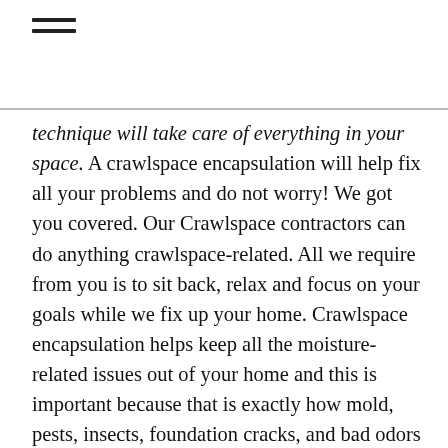≡
technique will take care of everything in your space. A crawlspace encapsulation will help fix all your problems and do not worry! We got you covered. Our Crawlspace contractors can do anything crawlspace-related. All we require from you is to sit back, relax and focus on your goals while we fix up your home. Crawlspace encapsulation helps keep all the moisture-related issues out of your home and this is important because that is exactly how mold, pests, insects, foundation cracks, and bad odors enter your home. Crawlspace encapsulation will have a plastic covering that shelters the entire space, ceilings, and floors. Once the plastic is added a dehumidifier gets installed to prevent excess moisture. Our contractors will examine your space and try to find the best cost-effective solution for you. We do not like to take up too much of your time and will do a quick thorough examination of your home to provide you with a FREE quote. Once we start the job, we first take care of any old insulation that the home had before and getting rid of pests, while fixing foundation cracks. After we take care of that the